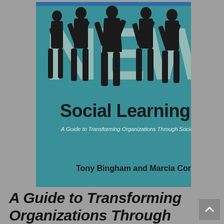[Figure (illustration): Book cover of 'The New Social Learning: A Guide to Transforming Organizations Through Social Media' by Tony Bingham and Marcia Conner. Teal background with large white/grey letters 'NEW' and black silhouettes of people standing above the subtitle text. Authors' names at the bottom.]
A Guide to Transforming Organizations Through Social